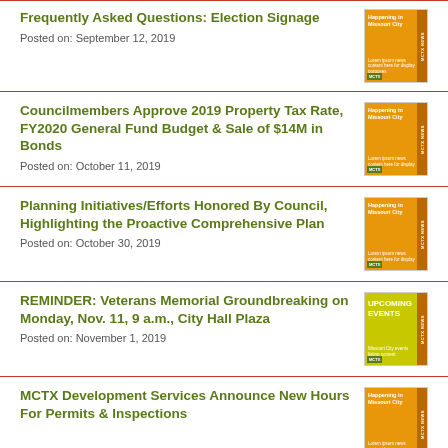Frequently Asked Questions: Election Signage
Posted on: September 12, 2019
Councilmembers Approve 2019 Property Tax Rate, FY2020 General Fund Budget & Sale of $14M in Bonds
Posted on: October 11, 2019
Planning Initiatives/Efforts Honored By Council, Highlighting the Proactive Comprehensive Plan
Posted on: October 30, 2019
REMINDER: Veterans Memorial Groundbreaking on Monday, Nov. 11, 9 a.m., City Hall Plaza
Posted on: November 1, 2019
MCTX Development Services Announce New Hours For Permits & Inspections